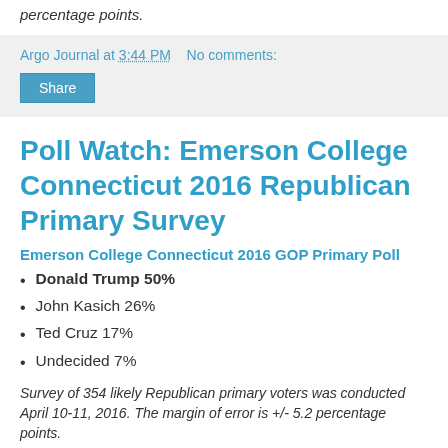percentage points.
Argo Journal at 3:44 PM   No comments:
Share
Poll Watch: Emerson College Connecticut 2016 Republican Primary Survey
Emerson College Connecticut 2016 GOP Primary Poll
Donald Trump 50%
John Kasich 26%
Ted Cruz 17%
Undecided 7%
Survey of 354 likely Republican primary voters was conducted April 10-11, 2016. The margin of error is +/- 5.2 percentage points.